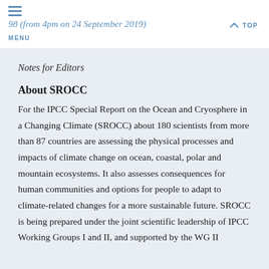98 (from 4pm on 24 September 2019) TOP MENU
Notes for Editors
About SROCC
For the IPCC Special Report on the Ocean and Cryosphere in a Changing Climate (SROCC) about 180 scientists from more than 87 countries are assessing the physical processes and impacts of climate change on ocean, coastal, polar and mountain ecosystems. It also assesses consequences for human communities and options for people to adapt to climate-related changes for a more sustainable future. SROCC is being prepared under the joint scientific leadership of IPCC Working Groups I and II, and supported by the WG II